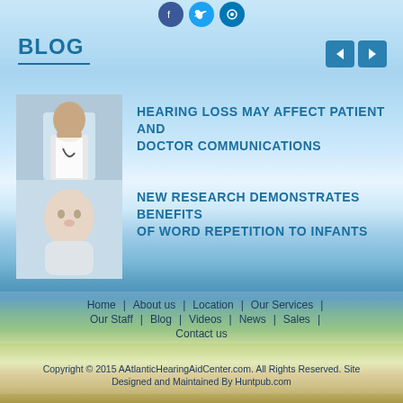[Figure (other): Social media icon buttons (Facebook, Twitter, and another) at top center]
BLOG
[Figure (other): Navigation arrow buttons (left and right) in blue squares, top right]
[Figure (photo): Photo of a doctor speaking with a patient]
HEARING LOSS MAY AFFECT PATIENT AND DOCTOR COMMUNICATIONS
[Figure (photo): Photo of a baby/infant]
NEW RESEARCH DEMONSTRATES BENEFITS OF WORD REPETITION TO INFANTS
Home | About us | Location | Our Services | Our Staff | Blog | Videos | News | Sales | Contact us
Copyright © 2015 AAtlanticHearingAidCenter.com. All Rights Reserved. Site Designed and Maintained By Huntpub.com